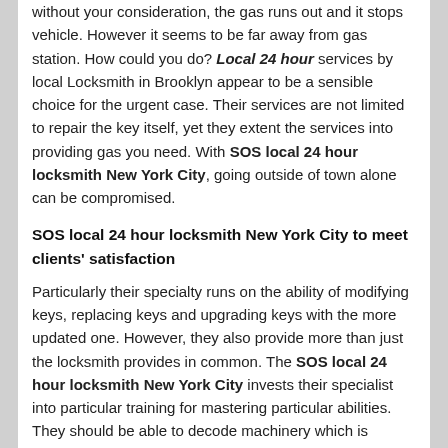without your consideration, the gas runs out and it stops vehicle. However it seems to be far away from gas station. How could you do? Local 24 hour services by local Locksmith in Brooklyn appear to be a sensible choice for the urgent case. Their services are not limited to repair the key itself, yet they extent the services into providing gas you need. With SOS local 24 hour locksmith New York City, going outside of town alone can be compromised.
SOS local 24 hour locksmith New York City to meet clients' satisfaction
Particularly their specialty runs on the ability of modifying keys, replacing keys and upgrading keys with the more updated one. However, they also provide more than just the locksmith provides in common. The SOS local 24 hour locksmith New York City invests their specialist into particular training for mastering particular abilities. They should be able to decode machinery which is considered as important task within the services. 24 hour car locksmith is everything but satisfying.